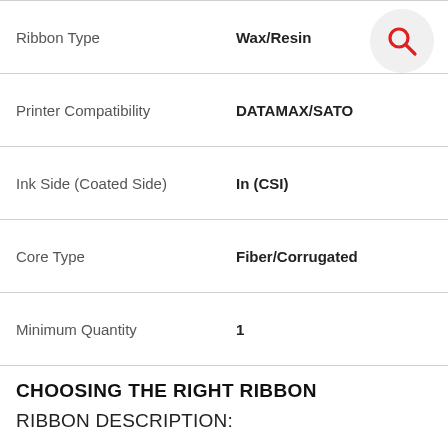| Property | Value |
| --- | --- |
| Ribbon Type | Wax/Resin |
| Printer Compatibility | DATAMAX/SATO |
| Ink Side (Coated Side) | In (CSI) |
| Core Type | Fiber/Corrugated |
| Minimum Quantity | 1 |
CHOOSING THE RIGHT RIBBON
RIBBON DESCRIPTION:
Ideal for short run prime labels, brand color matching, inventory control, and item matching and sorting. Assures quick visual recognition for coding, stocking, tracking and retrieving merchandise. For use in standard barcode printers and multi-